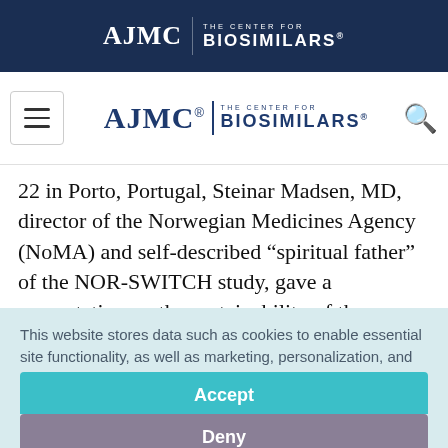AJMC | THE CENTER FOR BIOSIMILARS
[Figure (logo): AJMC | The Center for Biosimilars navigation logo with hamburger menu and search icon]
22 in Porto, Portugal, Steinar Madsen, MD, director of the Norwegian Medicines Agency (NoMA) and self-described “spiritual father” of the NOR-SWITCH study, gave a presentation on the sustainability of the biosimilars market in
This website stores data such as cookies to enable essential site functionality, as well as marketing, personalization, and analytics. Cookie Policy
Accept
Deny